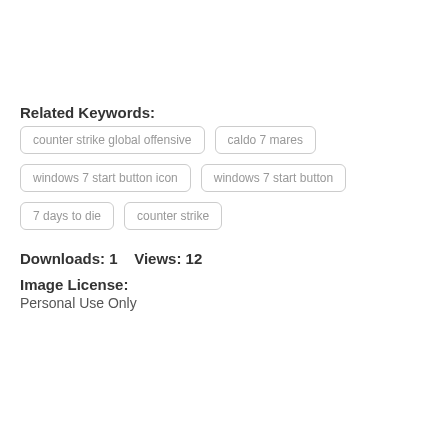Related Keywords:
counter strike global offensive
caldo 7 mares
windows 7 start button icon
windows 7 start button
7 days to die
counter strike
Downloads: 1    Views: 12
Image License:
Personal Use Only